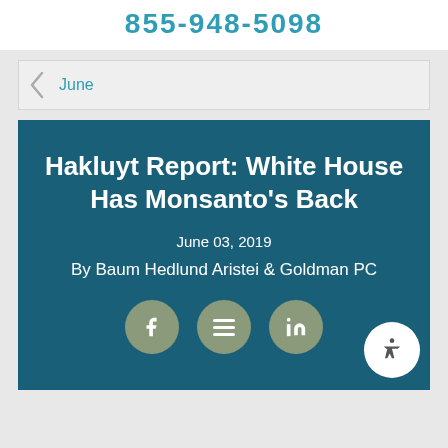855-948-5098
June
Hakluyt Report: White House Has Monsanto’s Back
June 03, 2019
By Baum Hedlund Aristei & Goldman PC